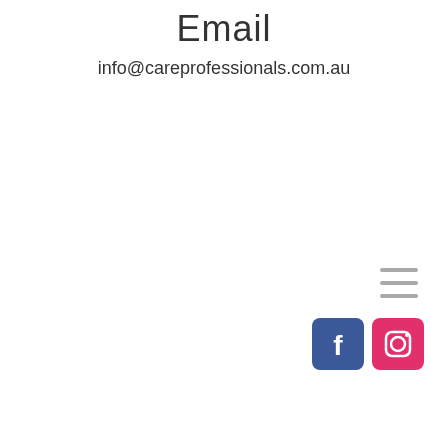Email
info@careprofessionals.com.au
[Figure (other): Hamburger menu icon with three horizontal lines in grey]
[Figure (other): Facebook and Instagram social media icon buttons]